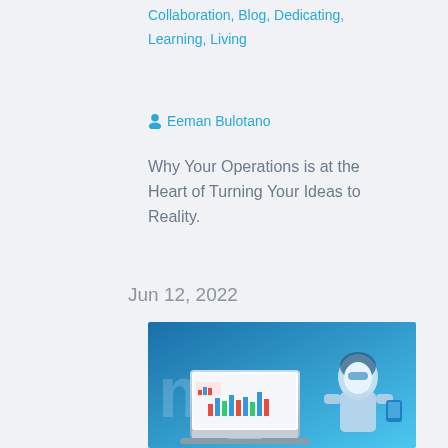Collaboration, Blog, Dedicating, Learning, Living
Eeman Bulotano
Why Your Operations is at the Heart of Turning Your Ideas to Reality.
Jun 12, 2022
[Figure (photo): 3D rendered illustration showing a robotic or futuristic figure holding a device, next to a laptop displaying a dashboard with charts, against a blue background with text 'mo']